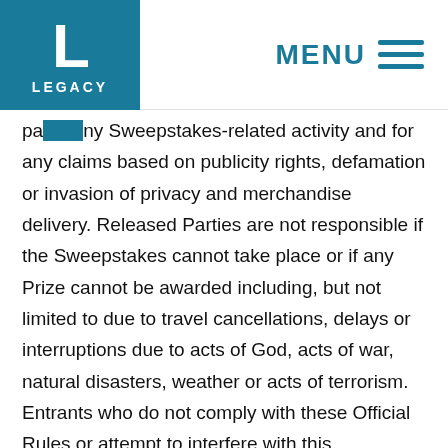[Figure (logo): Legacy logo: teal square with white 'L' letter and 'LEGACY' text below]
pa[rtici]ating in any Sweepstakes-related activity and for any claims based on publicity rights, defamation or invasion of privacy and merchandise delivery. Released Parties are not responsible if the Sweepstakes cannot take place or if any Prize cannot be awarded including, but not limited to due to travel cancellations, delays or interruptions due to acts of God, acts of war, natural disasters, weather or acts of terrorism. Entrants who do not comply with these Official Rules or attempt to interfere with this Sweepstakes in any way shall be disqualified. There is no purchase or sales presentation required to participate. A purchase does not increase odds of winning.